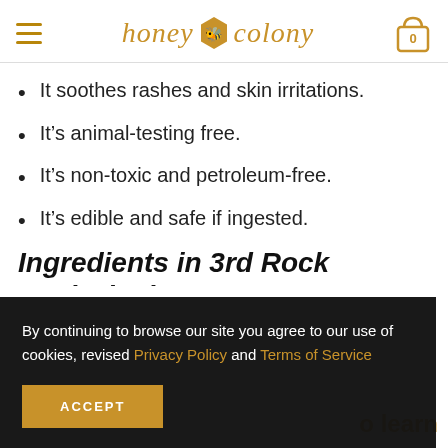honey colony
It soothes rashes and skin irritations.
It’s animal-testing free.
It’s non-toxic and petroleum-free.
It’s edible and safe if ingested.
Ingredients in 3rd Rock RashBlock:
By continuing to browse our site you agree to our use of cookies, revised Privacy Policy and Terms of Service
ACCEPT
o learn